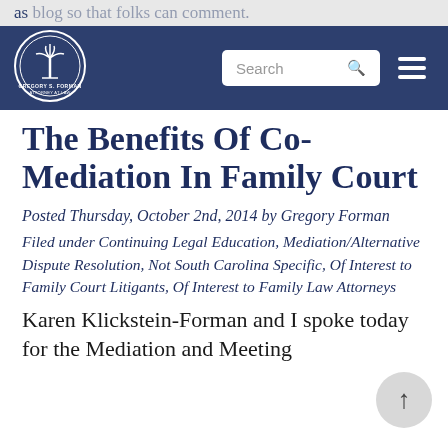as blog so that folks can comment.
[Figure (logo): Gregory S. Forman attorney logo with palm tree and circular seal, white on dark blue background]
The Benefits Of Co-Mediation In Family Court
Posted Thursday, October 2nd, 2014 by Gregory Forman
Filed under Continuing Legal Education, Mediation/Alternative Dispute Resolution, Not South Carolina Specific, Of Interest to Family Court Litigants, Of Interest to Family Law Attorneys
Karen Klickstein-Forman and I spoke today for the Mediation and Meeting